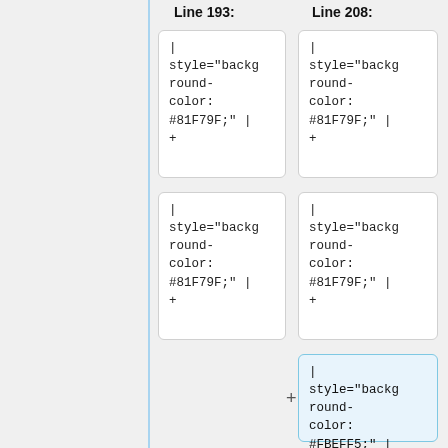Line 193:
Line 208:
| style="background-color: #81F79F;" |
+
| style="background-color: #81F79F;" |
+
| style="background-color: #81F79F;" |
+
| style="background-color: #81F79F;" |
+
+ | style="background-color: #FBEFF5;" | N/A